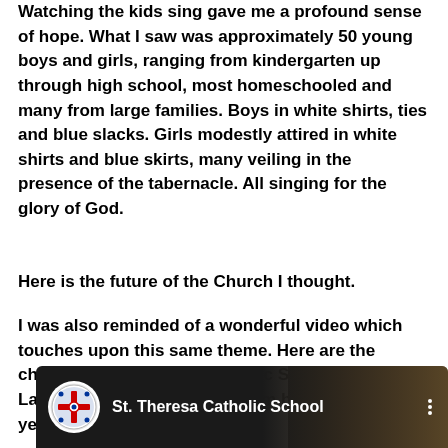Watching the kids sing gave me a profound sense of hope. What I saw was approximately 50 young boys and girls, ranging from kindergarten up through high school, most homeschooled and many from large families. Boys in white shirts, ties and blue slacks. Girls modestly attired in white shirts and blue skirts, many veiling in the presence of the tabernacle. All singing for the glory of God.
Here is the future of the Church I thought.
I was also reminded of a wonderful video which touches upon this same theme. Here are the children of St. Theresa Catholic School in Sugar Land, Texas. Talk about wisdom beyond their years!
[Figure (screenshot): YouTube video thumbnail showing St. Theresa Catholic School with school logo circle on left and title text, with dark background and people visible on right side.]